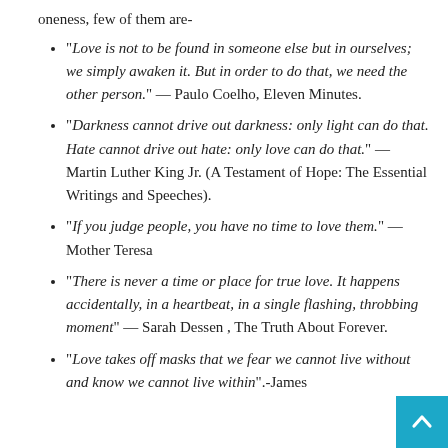oneness, few of them are-
“Love is not to be found in someone else but in ourselves; we simply awaken it. But in order to do that, we need the other person.” — Paulo Coelho, Eleven Minutes.
“Darkness cannot drive out darkness: only light can do that. Hate cannot drive out hate: only love can do that.” — Martin Luther King Jr. (A Testament of Hope: The Essential Writings and Speeches).
“If you judge people, you have no time to love them.” —Mother Teresa
“There is never a time or place for true love. It happens accidentally, in a heartbeat, in a single flashing, throbbing moment” — Sarah Dessen , The Truth About Forever.
“Love takes off masks that we fear we cannot live without and know we cannot live within”.-James